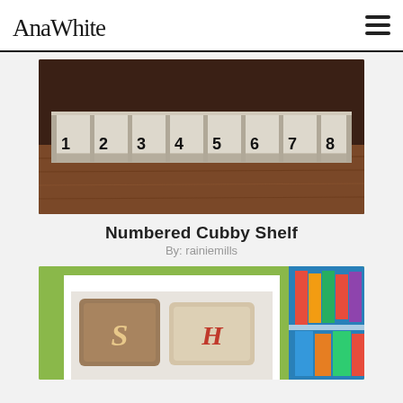AnaWhite
[Figure (photo): A white painted wooden numbered cubby shelf with 8 compartments labeled 1 through 8, mounted on a wood-grain wall.]
Numbered Cubby Shelf
By: rainiemills
[Figure (photo): A kids bedroom scene with a white bed frame, pillows with monogram letters S and H, against a bright green wall with colorful items.]